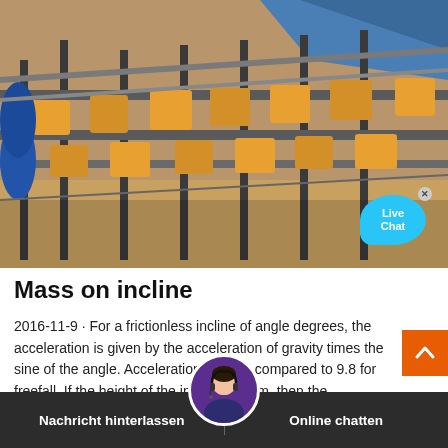[Figure (photo): Aerial/overhead view of an industrial plant or manufacturing facility with machinery, pipelines, and equipment in orange and blue colors]
Mass on incline
2016-11-9 · For a frictionless incline of angle degrees, the acceleration is given by the acceleration of gravity times the sine of the angle. Acceleration = m/s 2 compared to 9.8 for freefall. If the height of the incline is h= m, then the
Nachricht hinterlassen   Online chatten